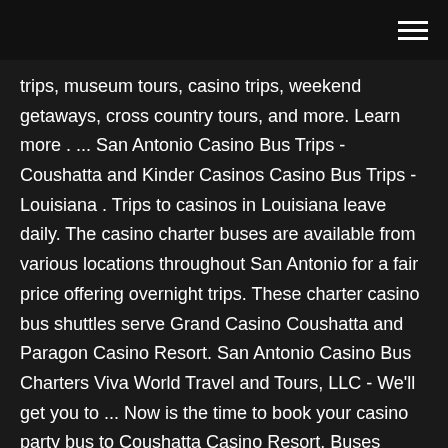trips, museum tours, casino trips, weekend getaways, cross country tours, and more. Learn more . ... San Antonio Casino Bus Trips - Coushatta and Kinder Casinos Casino Bus Trips - Louisiana . Trips to casinos in Louisiana leave daily. The casino charter buses are available from various locations throughout San Antonio for a fair price offering overnight trips. These charter casino bus shuttles serve Grand Casino Coushatta and Paragon Casino Resort. San Antonio Casino Bus Charters Viva World Travel and Tours, LLC - We'll get you to ... Now is the time to book your casino party bus to Coushatta Casino Resort. Buses depart several times a month to Kinder, Louisiana from many locations in San Antonio, Texas as well as Corpus Christi, Texas. Viva World Travel and Tours, LLC will refund charges only if a trip